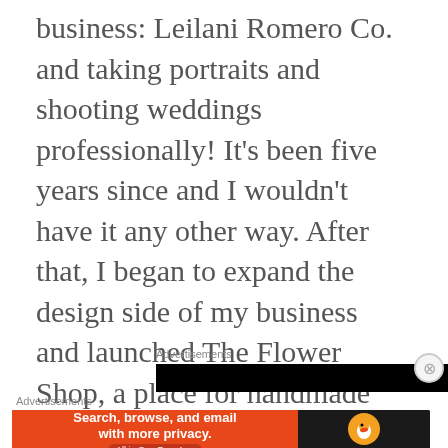business: Leilani Romero Co. and taking portraits and shooting weddings professionally! It's been five years since and I wouldn't have it any other way. After that, I began to expand the design side of my business and launched The Flower Shop, a place for handmade prints. Pretty soon I published my very first book, an illustrated work— The Little Things: A Collection of Happy Things.
Advertisements
[Figure (other): Black advertisement banner bar]
Advertisements
[Figure (other): DuckDuckGo advertisement banner: Search, browse, and email with more privacy. All in One Free App]